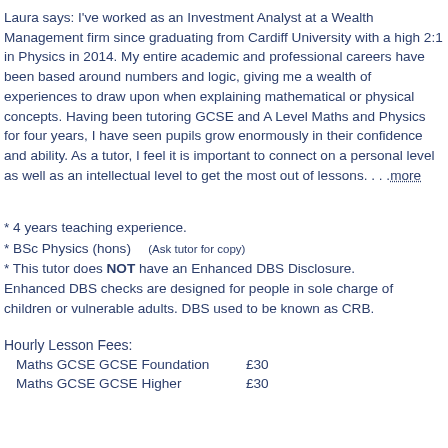Laura says: I've worked as an Investment Analyst at a Wealth Management firm since graduating from Cardiff University with a high 2:1 in Physics in 2014. My entire academic and professional careers have been based around numbers and logic, giving me a wealth of experiences to draw upon when explaining mathematical or physical concepts. Having been tutoring GCSE and A Level Maths and Physics for four years, I have seen pupils grow enormously in their confidence and ability. As a tutor, I feel it is important to connect on a personal level as well as an intellectual level to get the most out of lessons. . . .more
* 4 years teaching experience.
* BSc Physics (hons)    (Ask tutor for copy)
* This tutor does NOT have an Enhanced DBS Disclosure. Enhanced DBS checks are designed for people in sole charge of children or vulnerable adults. DBS used to be known as CRB.
Hourly Lesson Fees:
| Subject | Fee |
| --- | --- |
| Maths GCSE GCSE Foundation | £30 |
| Maths GCSE GCSE Higher | £30 |